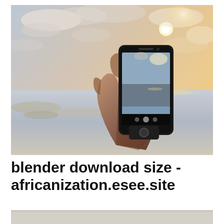[Figure (photo): A hand holding a smartphone photographing a sunset over the ocean. The phone screen shows the beach scene being captured. The background shows a dramatic sky with clouds lit by golden sunset light and calm ocean water.]
blender download size - africanization.esee.site
[Figure (photo): Bottom portion of a second photo, partially visible — appears to show a light gray or concrete surface.]